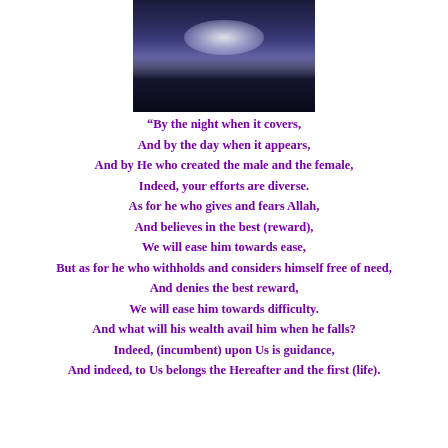[Figure (photo): Night sky photo of a mountain silhouette with glowing clouds]
“By the night when it covers,
And by the day when it appears,
And by He who created the male and the female,
Indeed, your efforts are diverse.
As for he who gives and fears Allah,
And believes in the best (reward),
We will ease him towards ease,
But as for he who withholds and considers himself free of need,
And denies the best reward,
We will ease him towards difficulty.
And what will his wealth avail him when he falls?
Indeed, (incumbent) upon Us is guidance,
And indeed, to Us belongs the Hereafter and the first (life).